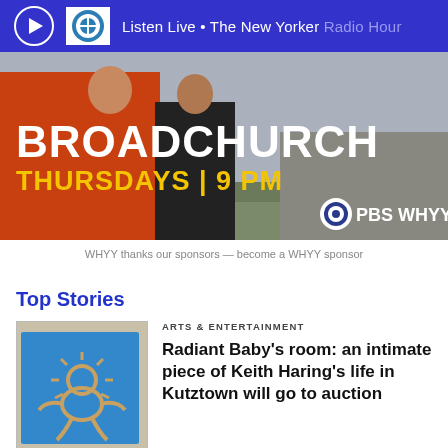Listen Live • The New Yorker Radio Hour
[Figure (photo): Broadchurch TV show advertisement banner showing two figures outdoors, with text BROADCHURCH THURSDAYS | 9 PM and PBS WHYY logo]
WHYY thanks our sponsors — become a WHYY sponsor
Top Stories
[Figure (illustration): Blue artwork featuring the Keith Haring Radiant Baby figure outlined in tan/gold on a blue background]
ARTS & ENTERTAINMENT
Radiant Baby's room: an intimate piece of Keith Haring's life in Kutztown will go to auction